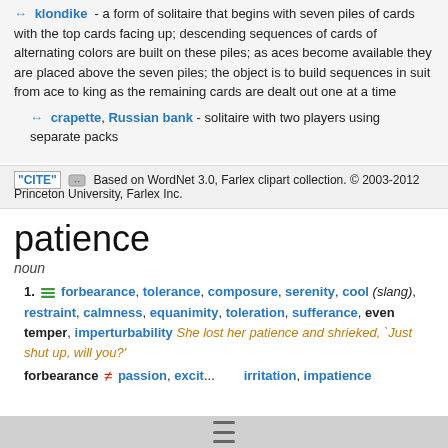↔ klondike - a form of solitaire that begins with seven piles of cards with the top cards facing up; descending sequences of cards of alternating colors are built on these piles; as aces become available they are placed above the seven piles; the object is to build sequences in suit from ace to king as the remaining cards are dealt out one at a time
↔ crapette, Russian bank - solitaire with two players using separate packs
"CITE" [link] Based on WordNet 3.0, Farlex clipart collection. © 2003-2012 Princeton University, Farlex Inc.
patience
noun
1. [icon] forbearance, tolerance, composure, serenity, cool (slang), restraint, calmness, equanimity, toleration, sufferance, even temper, imperturbability She lost her patience and shrieked, `Just shut up, will you?'
forbearance ≠ passion, excit... irritation, impatience